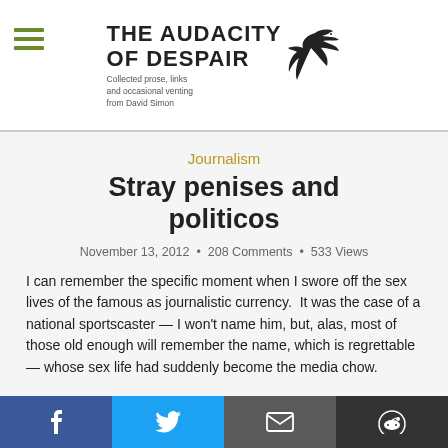THE AUDACITY OF DESPAIR
Collected prose, links and occasional venting from David Simon
Journalism
Stray penises and politicos
November 13, 2012  •  208 Comments  •  533 Views
I can remember the specific moment when I swore off the sex lives of the famous as journalistic currency.  It was the case of a national sportscaster — I won't name him, but, alas, most of those old enough will remember the name, which is regrettable — whose sex life had suddenly become the media chow.